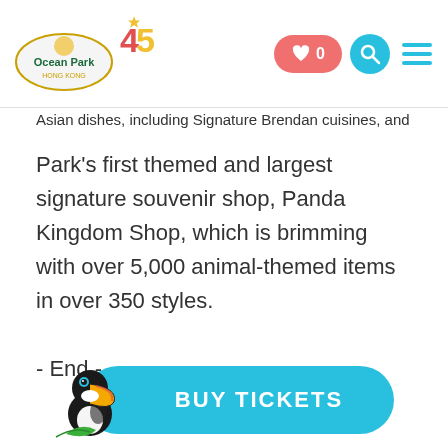Ocean Park 45th Anniversary logo with navigation icons (heart/0, search, menu)
Asian dishes, including Signature Brendan cuisines, and the Park's first themed and largest signature souvenir shop, Panda Kingdom Shop, which is brimming with over 5,000 animal-themed items in over 350 styles.
- End -
[Figure (illustration): BUY TICKETS button with toucan mascot bird on the left side]